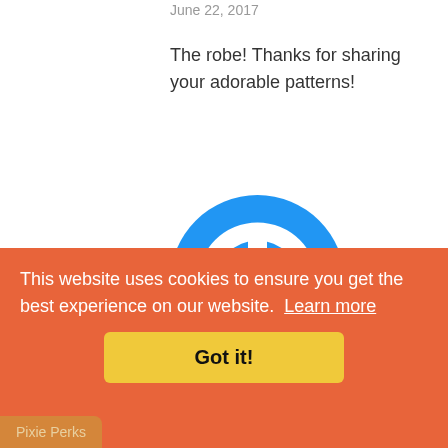June 22, 2017
The robe! Thanks for sharing your adorable patterns!
[Figure (illustration): Blue circular avatar icon with a power button symbol in white]
Marie W.
June 22, 2017
I vote for the Panda robe. It is so cute, but
This website uses cookies to ensure you get the best experience on our website. Learn more
Got it!
Pixie Perks